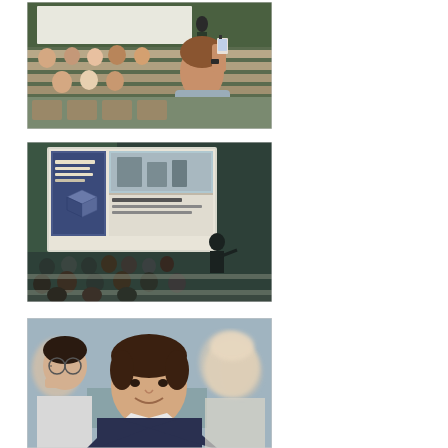[Figure (photo): Students in a lecture hall viewed from behind; a student in the foreground holds up a smartphone to photograph the presentation screen. A professor is visible at the front near a green chalkboard.]
[Figure (photo): A lecture hall with a presenter standing at the front pointing to a large projection screen displaying slides about 'Bohemian Saxon Switzerland' with architectural/landscape imagery. Students are seated in tiered rows.]
[Figure (photo): Close-up of students seated in a lecture hall. A young man with dark hair in a navy blazer smiles slightly toward the camera. Other students are visible in the background, slightly out of focus.]